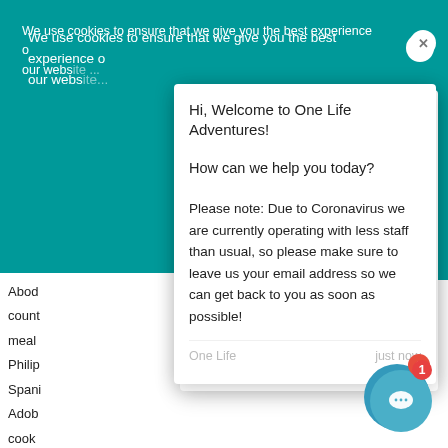We use cookies to ensure that we give you the best experience on our website...
Hi, Welcome to One Life Adventures!
How can we help you today?
Please note: Due to Coronavirus we are currently operating with less staff than usual, so please make sure to leave us your email address so we can get back to you as soon as possible!
One Life   just now
Abod
count
meal
Philip
Spani
Adob
cook
bay l
ul
os
adobo can also be common.
Variations of the adobo marinade have cropped over the world, especially in former Spanish colonies can find different kinds of adobo in Mexico, Puerto Rico,